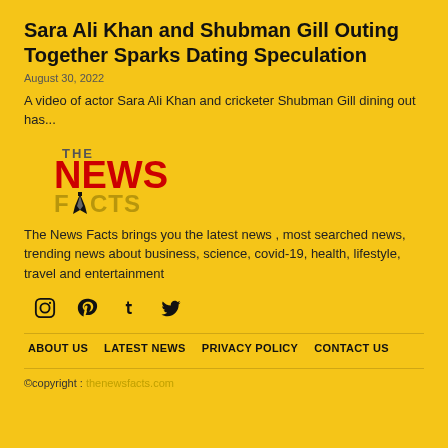Sara Ali Khan and Shubman Gill Outing Together Sparks Dating Speculation
August 30, 2022
A video of actor Sara Ali Khan and cricketer Shubman Gill dining out has...
[Figure (logo): The News Facts logo with red NEWS text and gold FACTS text with a pen nib icon]
The News Facts brings you the latest news , most searched news, trending news about business, science, covid-19, health, lifestyle, travel and entertainment
[Figure (infographic): Social media icons: Instagram, Pinterest, Tumblr, Twitter]
ABOUT US   LATEST NEWS   PRIVACY POLICY   CONTACT US
©copyright : thenewsfacts.com